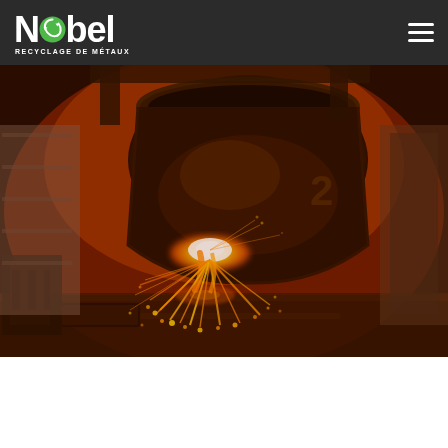Nobel Recyclage de Métaux — Navigation header with logo and hamburger menu
[Figure (photo): Industrial metal recycling scene: a large furnace crucible or ladle pouring molten metal with bright orange sparks flying, red-orange glow illuminating the dark industrial interior. A heavy cylindrical vessel dominates the center, with sparks cascading below.]